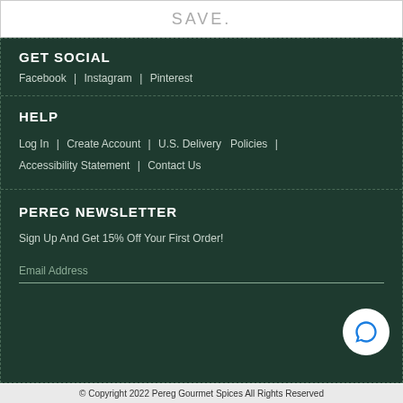SAVE.
GET SOCIAL
Facebook | Instagram | Pinterest
HELP
Log In | Create Account | U.S. Delivery Policies | Accessibility Statement | Contact Us
PEREG NEWSLETTER
Sign Up And Get 15% Off Your First Order!
Email Address
© Copyright 2022 Pereg Gourmet Spices All Rights Reserved